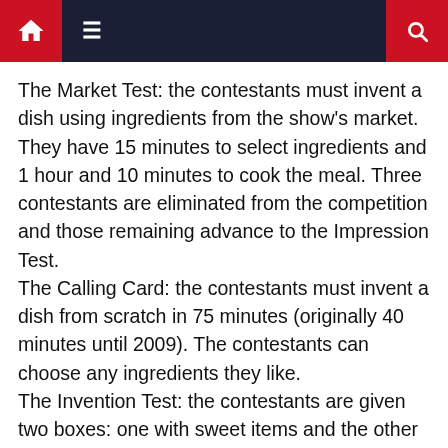Navigation bar with home, menu, and search icons
The Market Test: the contestants must invent a dish using ingredients from the show's market. They have 15 minutes to select ingredients and 1 hour and 10 minutes to cook the meal. Three contestants are eliminated from the competition and those remaining advance to the Impression Test.
The Calling Card: the contestants must invent a dish from scratch in 75 minutes (originally 40 minutes until 2009). The contestants can choose any ingredients they like.
The Invention Test: the contestants are given two boxes: one with sweet items and the other with savoury items. They must pick a box and make a dish using its ingredients within 75 minutes.
The Impression Test: the contestants must cook a two-course meal in 75 minutes for past winners and finalists of